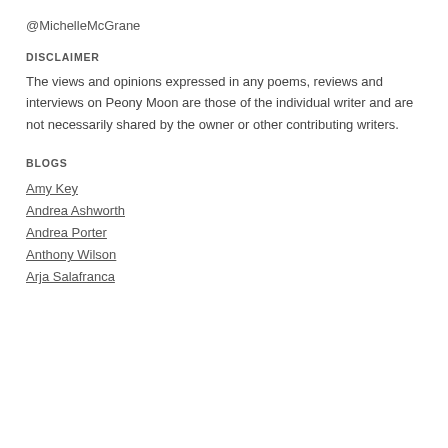@MichelleMcGrane
DISCLAIMER
The views and opinions expressed in any poems, reviews and interviews on Peony Moon are those of the individual writer and are not necessarily shared by the owner or other contributing writers.
BLOGS
Amy Key
Andrea Ashworth
Andrea Porter
Anthony Wilson
Arja Salafranca